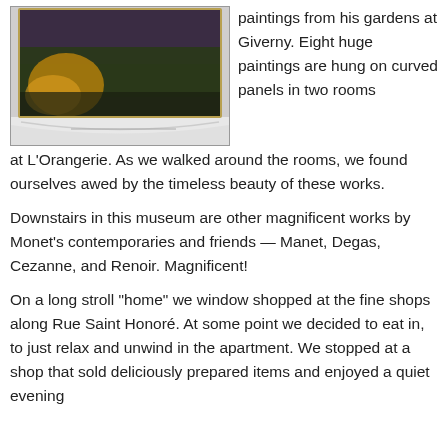[Figure (photo): A large Monet water lily painting displayed on a curved wall panel inside a museum gallery room (L'Orangerie). The painting shows a pond with reflections, dark greens and purples with a warm golden-orange glow on the left side.]
paintings from his gardens at Giverny.  Eight huge paintings are hung on curved panels in two rooms at L’Orangerie.   As we walked around the rooms, we found ourselves awed by the timeless beauty of these works.
Downstairs in this museum are other magnificent works by Monet’s contemporaries and friends — Manet, Degas, Cezanne, and Renoir.  Magnificent!
On a long stroll “home” we window shopped at the fine shops along Rue Saint Honoré.  At some point we decided to eat in, to just relax and unwind in the apartment.  We stopped at a shop that sold deliciously prepared items and enjoyed a quiet evening